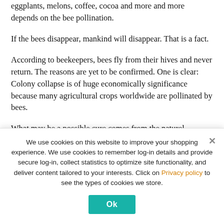eggplants, melons, coffee, cocoa and more and more depends on the bee pollination.
If the bees disappear, mankind will disappear. That is a fact.
According to beekeepers, bees fly from their hives and never return. The reasons are yet to be confirmed. One is clear: Colony collapse is of huge economically significance because many agricultural crops worldwide are pollinated by bees.
What may be a possible cure comes from the naturel
We use cookies on this website to improve your shopping experience. We use cookies to remember log-in details and provide secure log-in, collect statistics to optimize site functionality, and deliver content tailored to your interests. Click on Privacy policy to see the types of cookies we store.